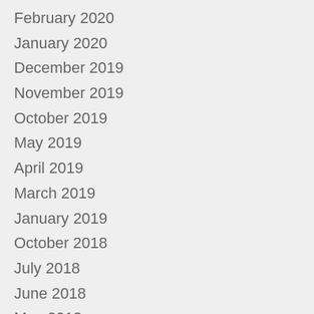February 2020
January 2020
December 2019
November 2019
October 2019
May 2019
April 2019
March 2019
January 2019
October 2018
July 2018
June 2018
May 2018
April 2018